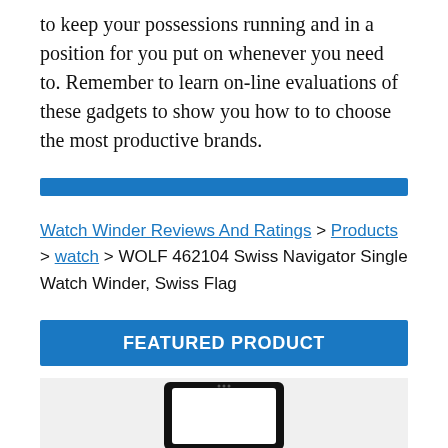to keep your possessions running and in a position for you put on whenever you need to. Remember to learn on-line evaluations of these gadgets to show you how to to choose the most productive brands.
[Figure (other): Blue horizontal decorative bar]
Watch Winder Reviews And Ratings > Products > watch > WOLF 462104 Swiss Navigator Single Watch Winder, Swiss Flag
FEATURED PRODUCT
[Figure (photo): Product photo of WOLF 462104 Swiss Navigator Single Watch Winder with black frame and white face, shown on light grey background]